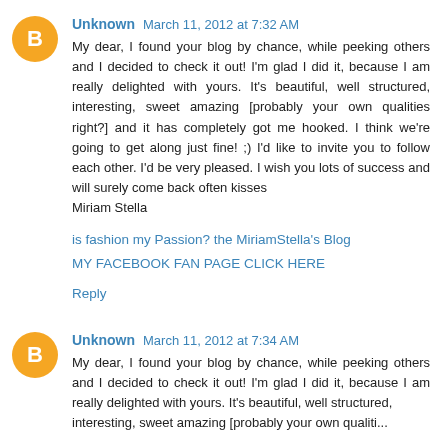Unknown March 11, 2012 at 7:32 AM
My dear, I found your blog by chance, while peeking others and I decided to check it out! I'm glad I did it, because I am really delighted with yours. It's beautiful, well structured, interesting, sweet amazing [probably your own qualities right?] and it has completely got me hooked. I think we're going to get along just fine! ;) I'd like to invite you to follow each other. I'd be very pleased. I wish you lots of success and will surely come back often kisses
Miriam Stella
is fashion my Passion? the MiriamStella's Blog
MY FACEBOOK FAN PAGE CLICK HERE
Reply
Unknown March 11, 2012 at 7:34 AM
My dear, I found your blog by chance, while peeking others and I decided to check it out! I'm glad I did it, because I am really delighted with yours. It's beautiful, well structured, interesting, sweet amazing [probably your own qualities...